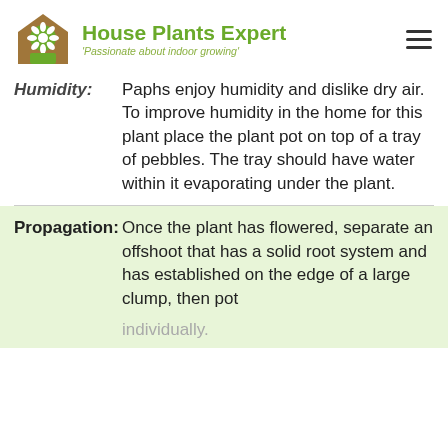House Plants Expert — 'Passionate about indoor growing'
Humidity: Paphs enjoy humidity and dislike dry air. To improve humidity in the home for this plant place the plant pot on top of a tray of pebbles. The tray should have water within it evaporating under the plant.
Propagation: Once the plant has flowered, separate an offshoot that has a solid root system and has established on the edge of a large clump, then pot individually.